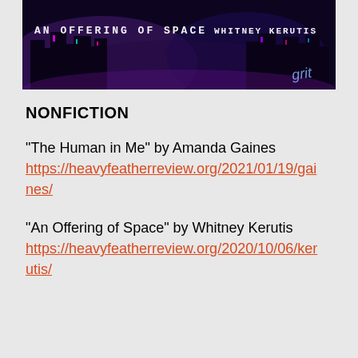[Figure (photo): Dark banner image with city skyline in purple/blue tones. Text reads 'AN OFFERING OF SPACE' on the left and 'WHITNEY KERUTIS' on the right in white monospaced font, with a stylized 'Grit' logo in the bottom right corner.]
NONFICTION
“The Human in Me” by Amanda Gaines https://heavyfeatherreview.org/2021/01/19/gaines/
“An Offering of Space” by Whitney Kerutis https://heavyfeatherreview.org/2020/10/06/kerutis/